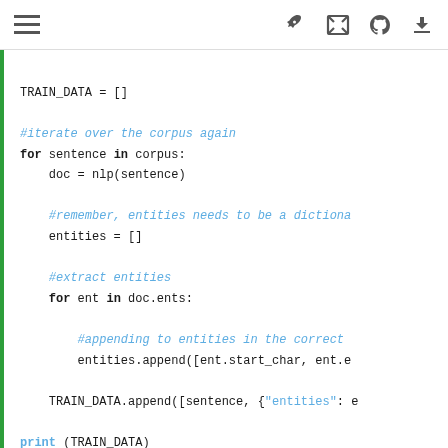Toolbar with hamburger menu and action icons
TRAIN_DATA = []

#iterate over the corpus again
for sentence in corpus:
    doc = nlp(sentence)

    #remember, entities needs to be a dictiona
    entities = []

    #extract entities
    for ent in doc.ents:

        #appending to entities in the correct
        entities.append([ent.start_char, ent.e

    TRAIN_DATA.append([sentence, {"entities": e

print (TRAIN_DATA)
[['Treblinka is a small village in Poland.', {